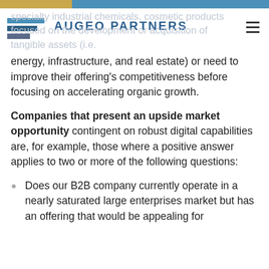Augeo Partners
specialty industrial chemicals, cosmetic products focused on the development or acquisition of tangible assets (i.e. energy, infrastructure, and real estate) or need to improve their offering's competitiveness before focusing on accelerating organic growth.
Companies that present an upside market opportunity contingent on robust digital capabilities are, for example, those where a positive answer applies to two or more of the following questions:
Does our B2B company currently operate in a nearly saturated large enterprises market but has an offering that would be appealing for